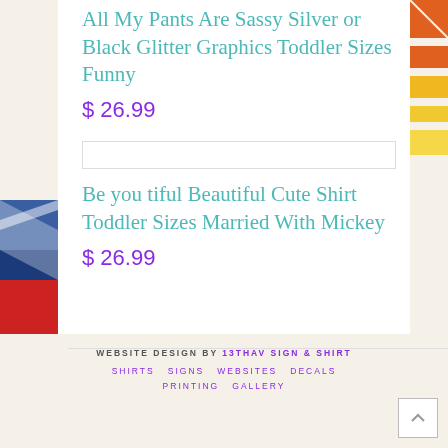All My Pants Are Sassy Silver or Black Glitter Graphics Toddler Sizes Funny
$ 26.99
Be you tiful Beautiful Cute Shirt Toddler Sizes Married With Mickey
$ 26.99
WEBSITE DESIGN BY 13THAV SIGN & SHIRT  SHIRTS  SIGNS  WEBSITES  DECALS  PRINTING  GALLERY